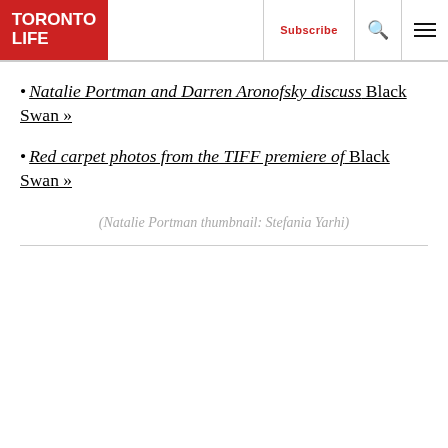TORONTO LIFE | Subscribe
Natalie Portman and Darren Aronofsky discuss Black Swan »
Red carpet photos from the TIFF premiere of Black Swan »
(Natalie Portman thumbnail: Stefania Yarhi)